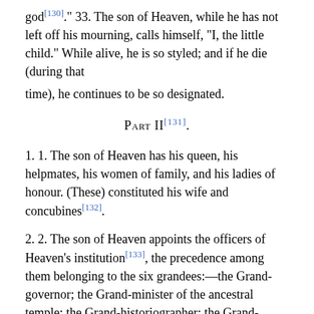god[130]. " 33. The son of Heaven, while he has not left off his mourning, calls himself, "I, the little child." While alive, he is so styled; and if he die (during that time), he continues to be so designated.
Part II[131].
1. 1. The son of Heaven has his queen, his helpmates, his women of family, and his ladies of honour. (These) constituted his wife and concubines[132].
2. 2. The son of Heaven appoints the officers of Heaven's institution[133], the precedence among them belonging to the six grandees:—the Grand-governor; the Grand-minister of the ancestral temple; the Grand-historiographer; the Grand-minister of prayers; the Grand-minister of justice; and the Grand-diviner. These are the guardians and superintendents of the six departments of